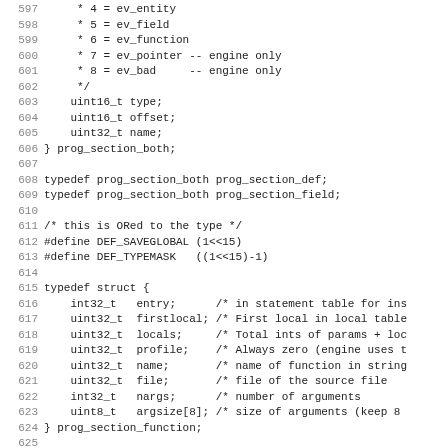Source code listing lines 597–628, showing C struct definitions for prog_section_both, prog_section_def, prog_section_field, prog_section_function, and related macros DEF_SAVEGLOBAL and DEF_TYPEMASK.